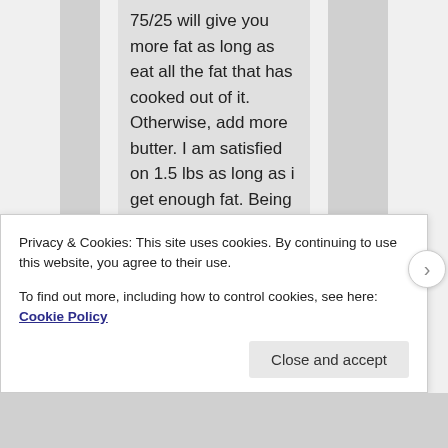75/25 will give you more fat as long as eat all the fat that has cooked out of it. Otherwise, add more butter. I am satisfied on 1.5 lbs as long as i get enough fat. Being a man, you might need more, but i doubt you need 3 lbs unless you are super active.
Privacy & Cookies: This site uses cookies. By continuing to use this website, you agree to their use.
To find out more, including how to control cookies, see here: Cookie Policy